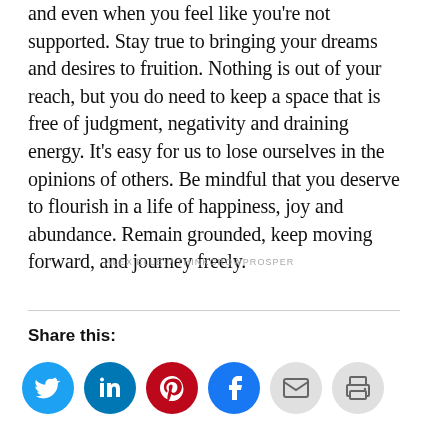and even when you feel like you're not supported. Stay true to bringing your dreams and desires to fruition. Nothing is out of your reach, but you do need to keep a space that is free of judgment, negativity and draining energy. It's easy for us to lose ourselves in the opinions of others. Be mindful that you deserve to flourish in a life of happiness, joy and abundance. Remain grounded, keep moving forward, and journey freely.
ALEX ELLE // THINKGROWPROSPER
Share this:
[Figure (infographic): Social media share buttons: Twitter (blue), LinkedIn (dark blue), Pinterest (red), Facebook (blue), Email (grey), Print (grey) — each as a circular icon button]